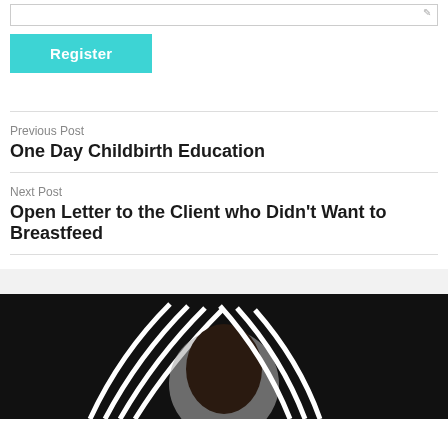[Figure (screenshot): Text input field with pencil/edit icon at right edge]
Register
Previous Post
One Day Childbirth Education
Next Post
Open Letter to the Client who Didn't Want to Breastfeed
[Figure (photo): Dark background image with black and white concentric arc stripes and a person's head with dark braided hair, partially visible, with a grey circle element]